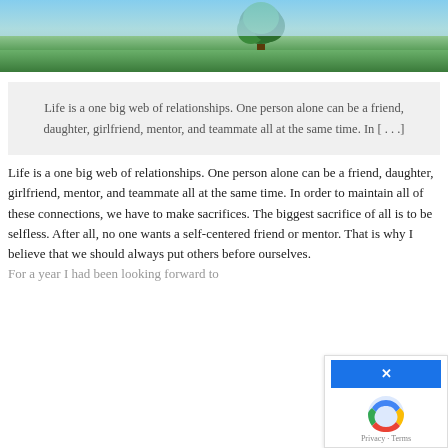[Figure (photo): Landscape photo showing green fields under a blue sky with a lone tree on the right side]
Life is a one big web of relationships. One person alone can be a friend, daughter, girlfriend, mentor, and teammate all at the same time. In [ . . . ]
Life is a one big web of relationships. One person alone can be a friend, daughter, girlfriend, mentor, and teammate all at the same time. In order to maintain all of these connections, we have to make sacrifices. The biggest sacrifice of all is to be selfless. After all, no one wants a self-centered friend or mentor. That is why I believe that we should always put others before ourselves.
For a year I had been looking forward to